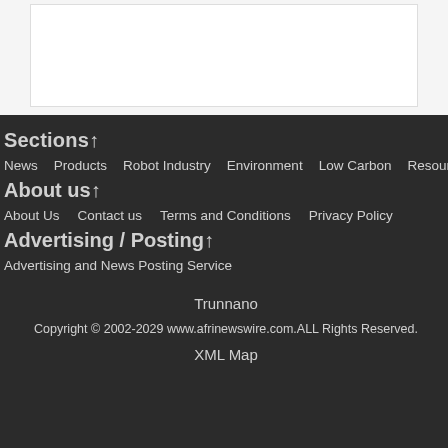Sections↑
News   Products   Robot Industry   Environment   Low Carbon   Resources
About us↑
About Us   Contact us   Terms and Conditions   Privacy Policy
Advertising / Posting↑
Advertising and News Posting Service
Trunnano
Copyright © 2002-2029 www.afrinewswire.com.ALL Rights Reserved.
XML Map